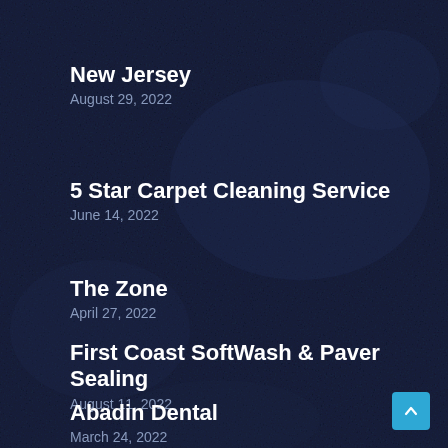New Jersey
August 29, 2022
5 Star Carpet Cleaning Service
June 14, 2022
The Zone
April 27, 2022
First Coast SoftWash & Paver Sealing
August 11, 2022
Abadin Dental
March 24, 2022